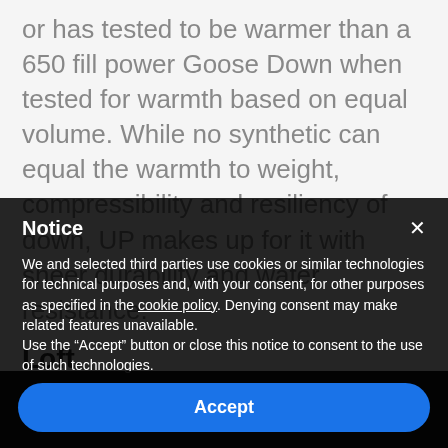or has tested to be warmer than a 650 fill power Goose Down when tested for warmth based on equal volume. While no synthetic can equal the warmth to weight, compressibility and resiliency of down, UP makes up for it with sheer durability and water resistance.
Loft
In loft...
Notice
We and selected third parties use cookies or similar technologies for technical purposes and, with your consent, for other purposes as specified in the cookie policy. Denying consent may make related features unavailable.
Use the "Accept" button or close this notice to consent to the use of such technologies.
Accept